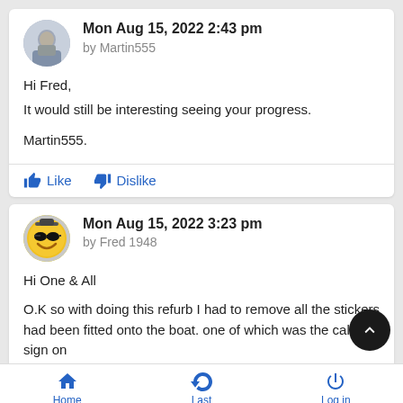Mon Aug 15, 2022 2:43 pm by Martin555
Hi Fred,
It would still be interesting seeing your progress.

Martin555.
Like  Dislike
Mon Aug 15, 2022 3:23 pm by Fred 1948
Hi One & All

O.K so with doing this refurb I had to remove all the stickers had been fitted onto the boat. one of which was the call sign on
Home   Last   Log in